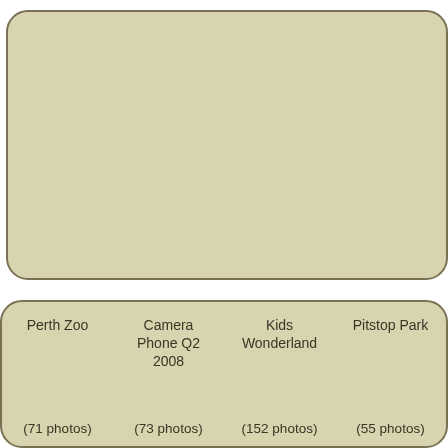[Figure (other): Large rounded rectangle card with tan/khaki background color, empty content area]
| Perth Zoo | Camera Phone Q2 2008 | Kids Wonderland | Pitstop Park |
| --- | --- | --- | --- |
| (71 photos) | (73 photos) | (152 photos) | (55 photos) |